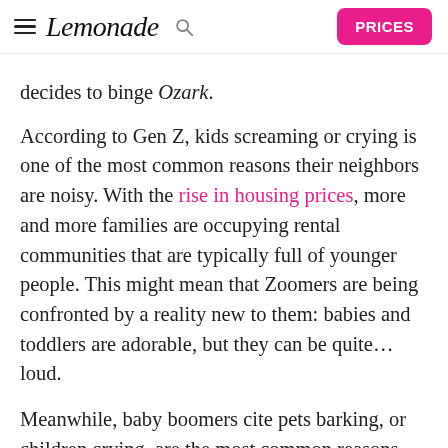Lemonade — PRICES
decides to binge Ozark.
According to Gen Z, kids screaming or crying is one of the most common reasons their neighbors are noisy. With the rise in housing prices, more and more families are occupying rental communities that are typically full of younger people. This might mean that Zoomers are being confronted by a reality new to them: babies and toddlers are adorable, but they can be quite… loud.
Meanwhile, baby boomers cite pets barking, or children crying, are the most common reasons